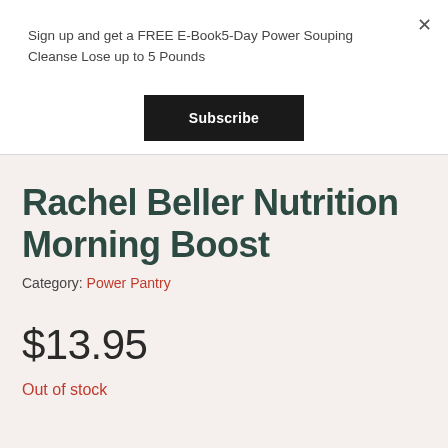Sign up and get a FREE E-Book5-Day Power Souping Cleanse Lose up to 5 Pounds
Subscribe
Rachel Beller Nutrition Morning Boost
Category: Power Pantry
$13.95
Out of stock